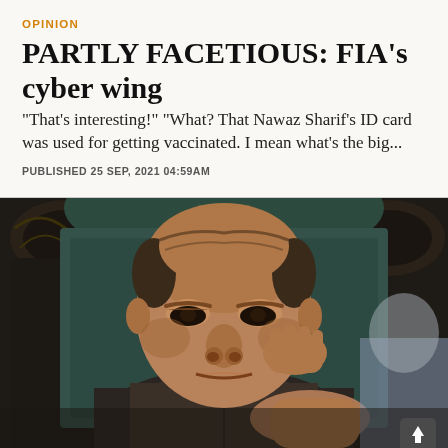OPINION
PARTLY FACETIOUS: FIA's cyber wing
"That's interesting!" "What? That Nawaz Sharif's ID card was used for getting vaccinated. I mean what's the big...
PUBLISHED 25 SEP, 2021 04:59AM
[Figure (photo): Nawaz Sharif seated in an ornate dark wooden chair, resting his chin on his hand, wearing a dark vest over a white shirt, looking downward with a contemplative expression.]